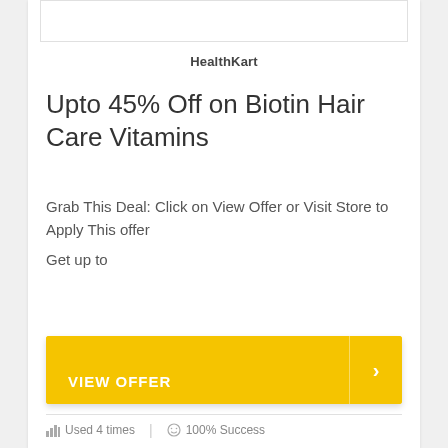[Figure (other): Rectangular image placeholder box at top of card]
HealthKart
Upto 45% Off on Biotin Hair Care Vitamins
Grab This Deal: Click on View Offer or Visit Store to Apply This offer
Get up to
VIEW OFFER
Used 4 times  |  100% Success